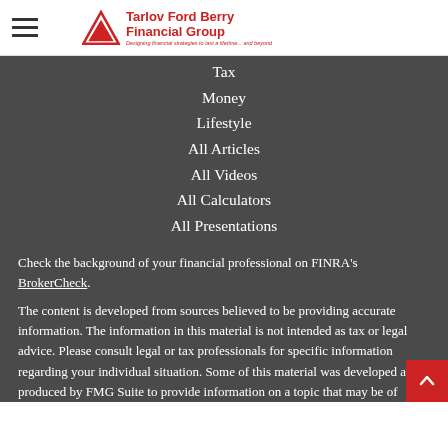Tarlov Ford Berry Financial Group — Designing financial strategies to last a lifetime... and beyond
Tax
Money
Lifestyle
All Articles
All Videos
All Calculators
All Presentations
Check the background of your financial professional on FINRA's BrokerCheck.
The content is developed from sources believed to be providing accurate information. The information in this material is not intended as tax or legal advice. Please consult legal or tax professionals for specific information regarding your individual situation. Some of this material was developed and produced by FMG Suite to provide information on a topic that may be of interest. FMG Suite is not affiliated with the named